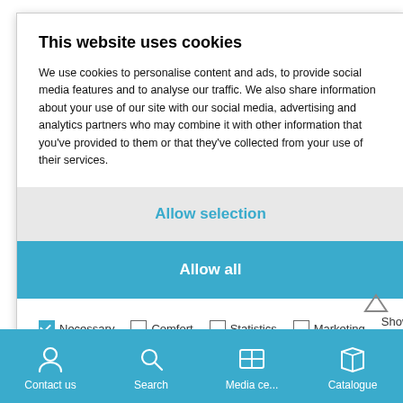This website uses cookies
We use cookies to personalise content and ads, to provide social media features and to analyse our traffic. We also share information about your use of our site with our social media, advertising and analytics partners who may combine it with other information that you've provided to them or that they've collected from your use of their services.
Allow selection
Allow all
✓ Necessary   □ Comfort   □ Statistics   □ Marketing   Show details
LegaDrive Systems Eco. Power assisted height adjustable desks have been proven to boost productivity and more offices ar…
[Figure (screenshot): Bottom navigation bar with icons for Contact us, Search, Media ce..., and Catalogue on a blue background]